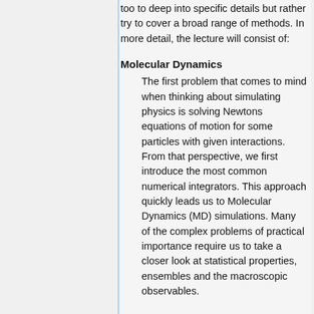too to deep into specific details but rather try to cover a broad range of methods. In more detail, the lecture will consist of:
Molecular Dynamics
The first problem that comes to mind when thinking about simulating physics is solving Newtons equations of motion for some particles with given interactions. From that perspective, we first introduce the most common numerical integrators. This approach quickly leads us to Molecular Dynamics (MD) simulations. Many of the complex problems of practical importance require us to take a closer look at statistical properties, ensembles and the macroscopic observables.
The goal is to be able to set up and